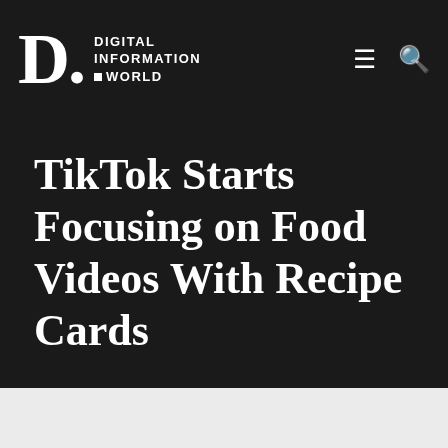DIGITAL INFORMATION WORLD
TikTok Starts Focusing on Food Videos With Recipe Cards